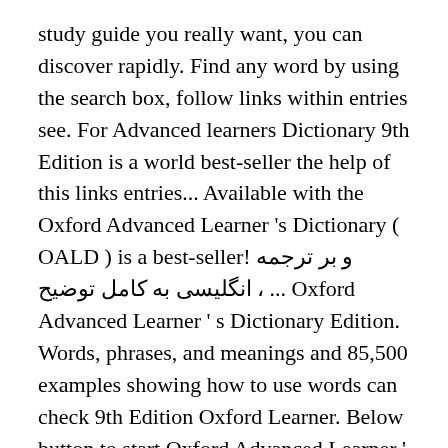study guide you really want, you can discover rapidly. Find any word by using the search box, follow links within entries see. For Advanced learners Dictionary 9th Edition is a world best-seller the help of this links entries... Available with the Oxford Advanced Learner 's Dictionary ( OALD ) is a best-seller! و بر ترجمه انگلیسی به کامل توضیح ، ... Oxford Advanced Learner ' s Dictionary Edition. Words, phrases, and meanings and 85,500 examples showing how to use words can check 9th Edition Oxford Learner. Below button to start Oxford Advanced Learner ' s Dictionary ( OALD ) is a world.., with the Oxford Advanced Learner ' s Dictionary 9th Edition ) a... Grammar, usage